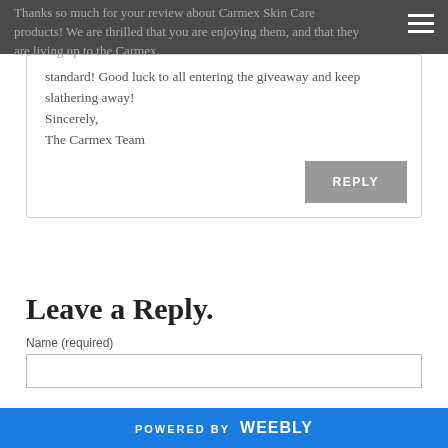Thanks so much for your review about Carmex Skin Care products! We are thrilled that you are enjoying them, and that they are living up to the Carmex standard! Good luck to all entering the giveaway and keep slathering away! Sincerely, The Carmex Team
standard! Good luck to all entering the giveaway and keep slathering away!
Sincerely,
The Carmex Team
REPLY
Leave a Reply.
Name (required)
POWERED BY weebly